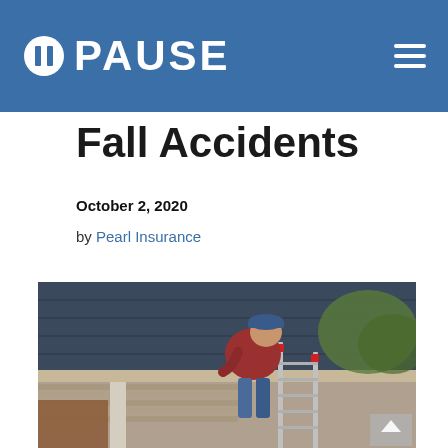PAUSE
Fall Accidents
October 2, 2020
by Pearl Insurance
[Figure (photo): A man in a red shirt and blue cap standing on an aluminum ladder, leaning over to clean or inspect gutters on a house roof with dark shingles.]